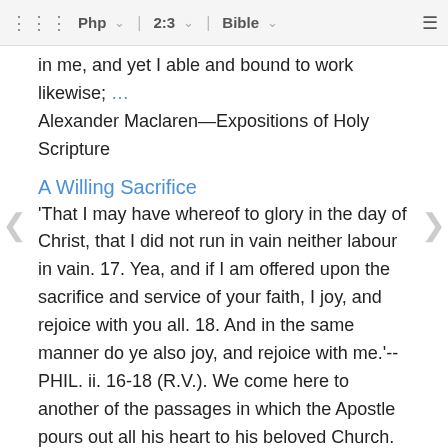Php  2:3  Bible
in me, and yet I able and bound to work likewise; … Alexander Maclaren—Expositions of Holy Scripture
A Willing Sacrifice
'That I may have whereof to glory in the day of Christ, that I did not run in vain neither labour in vain. 17. Yea, and if I am offered upon the sacrifice and service of your faith, I joy, and rejoice with you all. 18. And in the same manner do ye also joy, and rejoice with me.'--PHIL. ii. 16-18 (R.V.). We come here to another of the passages in which the Apostle pours out all his heart to his beloved Church. Perhaps there never was a Christian teacher (always excepting Christ) who spoke more about …
Alexander Maclaren—Expositions of Holy Scripture
A Plea for Unity